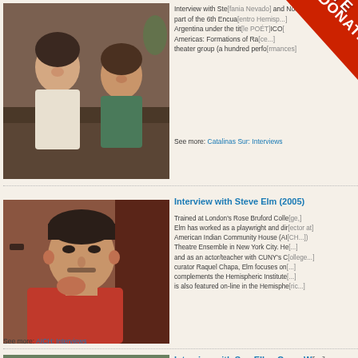[Figure (photo): Two women sitting together, one in white top, one in a green/teal outfit, in what appears to be an interview setting]
Interview with St[efania Nevado] and Nor[ma...] part of the 6th Encue[ntro Hemisp...] Argentina under the title [POÉT]ICO[ Americas: Formations of Ra...] theater group (a hundred perfo[rmances...]
See more: Catalinas Sur: Interviews
[Figure (photo): A man in a red shirt with short dark hair, resting his chin on his hand in a thoughtful pose, interview setting]
Interview with Steve Elm (2005)
Trained at London's Rose Bruford Colle[ge,] Elm has worked as a playwright and dir[ector at] American Indian Community House (AI[CH]...) Theatre Ensemble in New York City. He[ has worked] and as an actor/teacher with CUNY's C[ollege...] curator Raquel Chapa, Elm focuses on [work that] complements the Hemispheric Institute[...] is also featured on-line in the Hemisphe[ric...]
See more: AICH: Interviews
[Figure (photo): Interview with Sue-Ellen Case - partial photo visible at bottom of page]
Interview with Sue-Ellen Case: W[...]